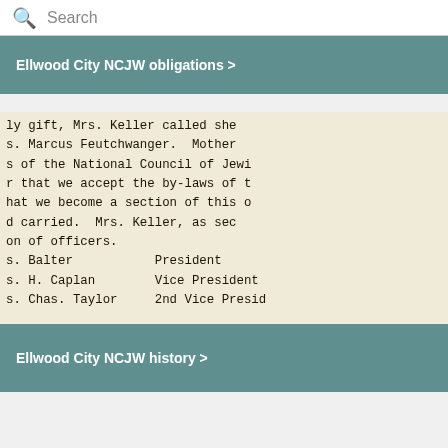Search
Ellwood City NCJW obligations >
[Figure (photo): Scanned typewritten document excerpt showing partial text: 'ly gift, Mrs. Keller called she s. Marcus Feutchwanger. Mothers of the National Council of Jews r that we accept the by-laws of t hat we become a section of this o d carried. Mrs. Keller, as sec on of officers. s. Balter President s. H. Caplan Vice President s. Chas. Taylor 2nd Vice Presid']
Ellwood City NCJW history >